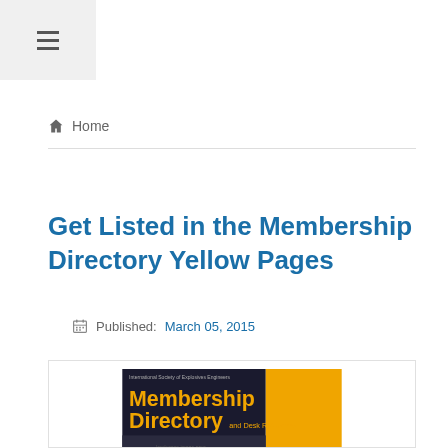≡ (hamburger menu)
🏠 Home
Get Listed in the Membership Directory Yellow Pages
Published: March 05, 2015
[Figure (photo): Book cover: Membership Directory and Desk Reference, International Society of Explosives Engineers. Black and gold/orange cover with title text.]